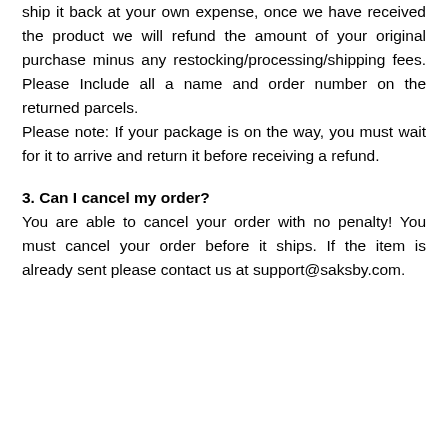ship it back at your own expense, once we have received the product we will refund the amount of your original purchase minus any restocking/processing/shipping fees. Please Include all a name and order number on the returned parcels.
Please note: If your package is on the way, you must wait for it to arrive and return it before receiving a refund.
3. Can I cancel my order?
You are able to cancel your order with no penalty! You must cancel your order before it ships. If the item is already sent please contact us at support@saksby.com.